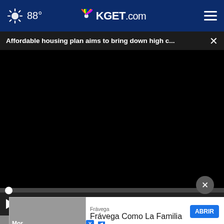88° KGET.com
Affordable housing plan aims to bring down high c...
[Figure (screenshot): Black video player area, paused at 00:00 with progress bar, play button, mute button, time display 00:00, captions and fullscreen icons]
Frávega
Frávega Como La Familia
ABRIR
Mor...